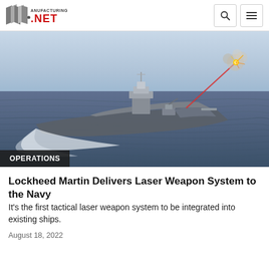Manufacturing.NET
[Figure (photo): Aerial illustration of a US Navy destroyer ship firing a red laser beam at a target in the sky over the ocean. The ship is sailing through blue-gray water with a white wake. The laser hits a small aircraft or drone which explodes in a burst of light and smoke in the upper right.]
OPERATIONS
Lockheed Martin Delivers Laser Weapon System to the Navy
It's the first tactical laser weapon system to be integrated into existing ships.
August 18, 2022